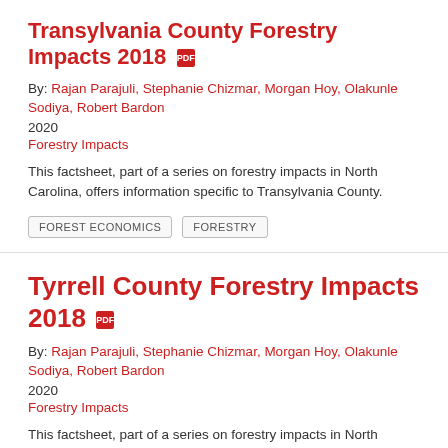Transylvania County Forestry Impacts 2018
By: Rajan Parajuli, Stephanie Chizmar, Morgan Hoy, Olakunle Sodiya, Robert Bardon
2020
Forestry Impacts
This factsheet, part of a series on forestry impacts in North Carolina, offers information specific to Transylvania County.
FOREST ECONOMICS
FORESTRY
Tyrrell County Forestry Impacts 2018
By: Rajan Parajuli, Stephanie Chizmar, Morgan Hoy, Olakunle Sodiya, Robert Bardon
2020
Forestry Impacts
This factsheet, part of a series on forestry impacts in North Carolina, offers information specific to Tyrrell County.